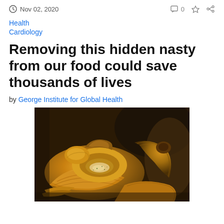Nov 02, 2020
Health
Cardiology
Removing this hidden nasty from our food could save thousands of lives
by George Institute for Global Health
[Figure (photo): Close-up photograph of pastries, specifically croissants and flaky baked goods piled together, showing golden-brown layered textures]